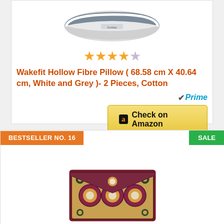[Figure (photo): Wakefit hollow fibre pillow product image showing white and grey pillow]
[Figure (other): Star rating: 4.5 out of 5 stars]
Wakefit Hollow Fibre Pillow ( 68.58 cm X 40.64 cm, White and Grey )- 2 Pieces, Cotton
[Figure (logo): Amazon Prime checkmark logo with blue Prime text]
[Figure (other): Check on Amazon button with Amazon logo]
BESTSELLER NO. 16
SALE
[Figure (photo): Embroidered clutch bag with floral and mirror-work design in maroon, gold, green and blue colors]